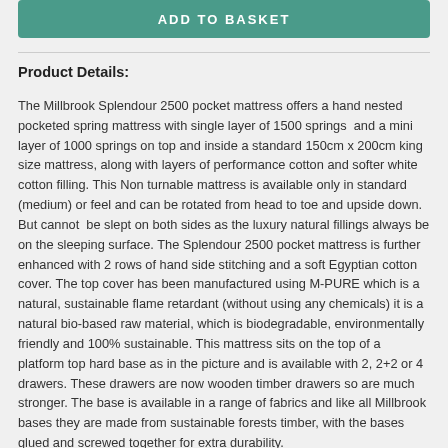[Figure (other): Green 'ADD TO BASKET' button]
Product Details:
The Millbrook Splendour 2500 pocket mattress offers a hand nested pocketed spring mattress with single layer of 1500 springs  and a mini layer of 1000 springs on top and inside a standard 150cm x 200cm king size mattress, along with layers of performance cotton and softer white cotton filling. This Non turnable mattress is available only in standard (medium) or feel and can be rotated from head to toe and upside down. But cannot  be slept on both sides as the luxury natural fillings always be on the sleeping surface. The Splendour 2500 pocket mattress is further enhanced with 2 rows of hand side stitching and a soft Egyptian cotton cover. The top cover has been manufactured using M-PURE which is a natural, sustainable flame retardant (without using any chemicals) it is a natural bio-based raw material, which is biodegradable, environmentally friendly and 100% sustainable. This mattress sits on the top of a platform top hard base as in the picture and is available with 2, 2+2 or 4 drawers. These drawers are now wooden timber drawers so are much stronger. The base is available in a range of fabrics and like all Millbrook bases they are made from sustainable forests timber, with the bases glued and screwed together for extra durability.